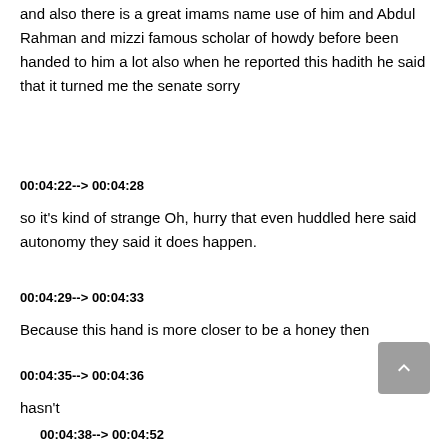and also there is a great imams name use of him and Abdul Rahman and mizzi famous scholar of howdy before been handed to him a lot also when he reported this hadith he said that it turned me the senate sorry
00:04:22--> 00:04:28
so it's kind of strange Oh, hurry that even huddled here said autonomy they said it does happen.
00:04:29--> 00:04:33
Because this hand is more closer to be a honey then
00:04:35--> 00:04:36
hasn't
00:04:38--> 00:04:52